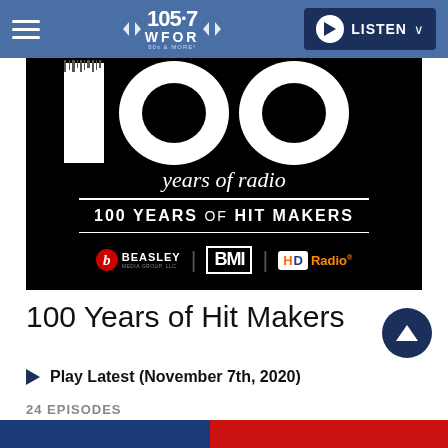105.7 WFOR 80s & MORE! | LISTEN
[Figure (illustration): Black background promotional image for '100 years of radio – 100 YEARS OF HIT MAKERS' with Beasley Media Group, BMI, and HD Radio logos]
100 Years of Hit Makers
Play Latest (November 7th, 2020)
24 EPISODES